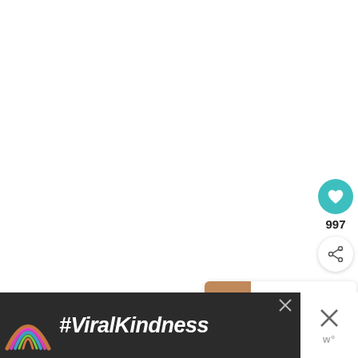[Figure (screenshot): White blank area taking up most of the page]
[Figure (other): Teal circular heart/like button with white heart icon]
997
[Figure (other): White circular share button with share icon]
[Figure (other): WHAT'S NEXT card with food thumbnail and text 'Spicy Korean BBQ Chicken']
[Figure (other): Advertisement banner with rainbow chalk art and #ViralKindness text on dark background]